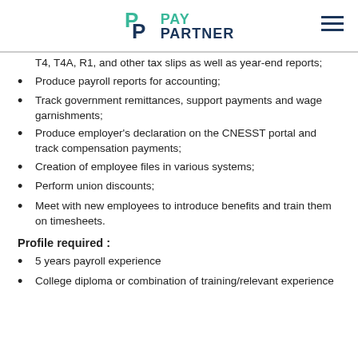PAY PARTNER
T4, T4A, R1, and other tax slips as well as year-end reports;
Produce payroll reports for accounting;
Track government remittances, support payments and wage garnishments;
Produce employer's declaration on the CNESST portal and track compensation payments;
Creation of employee files in various systems;
Perform union discounts;
Meet with new employees to introduce benefits and train them on timesheets.
Profile required :
5 years payroll experience
College diploma or combination of training/relevant experience